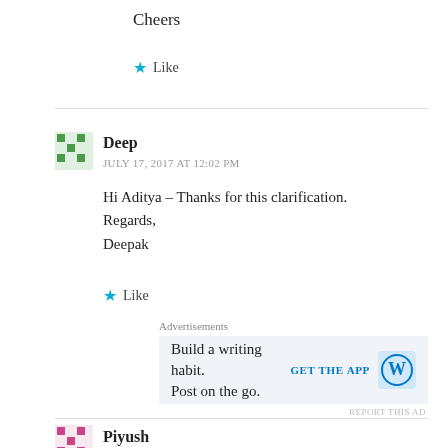Cheers
★ Like
Deep
JULY 17, 2017 AT 12:02 PM
Hi Aditya – Thanks for this clarification.
Regards,
Deepak
★ Like
Advertisements
Build a writing habit. Post on the go. GET THE APP
REPORT THIS AD
Piyush